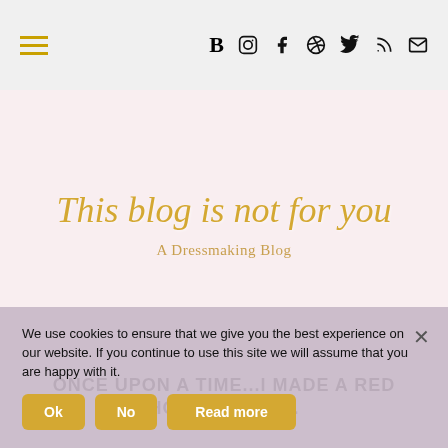≡  B  [instagram] f [pinterest] [twitter] [rss] [mail]
[Figure (logo): Blog logo with script text 'This blog is not for you' in gold italic font on pink background, with subtitle 'A Dressmaking Blog']
ONCE UPON A TIME...I MADE A RED HOODED CAPE.
We use cookies to ensure that we give you the best experience on our website. If you continue to use this site we will assume that you are happy with it.